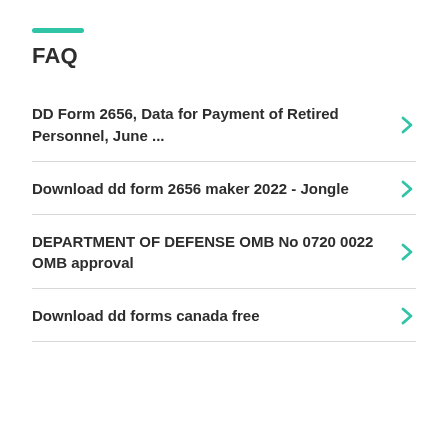FAQ
DD Form 2656, Data for Payment of Retired Personnel, June ...
Download dd form 2656 maker 2022 - Jongle
DEPARTMENT OF DEFENSE OMB No 0720 0022 OMB approval
Download dd forms canada free